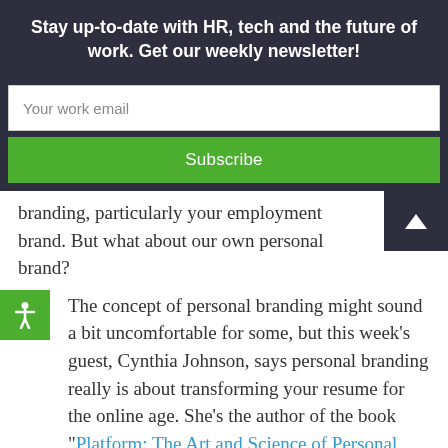Stay up-to-date with HR, tech and the future of work. Get our weekly newsletter!
Your work email
Subscribe
branding, particularly your employment brand. But what about our own personal brand?
The concept of personal branding might sound a bit uncomfortable for some, but this week’s guest, Cynthia Johnson, says personal branding really is about transforming your resume for the online age. She’s the author of the book “Platform: The Art and Science of Personal Branding,” and she joined us to give her advice on building a powerful personal brand — and why it’s important for employers to encourage their employees to do so.
Listen to the full conversation, and then read the